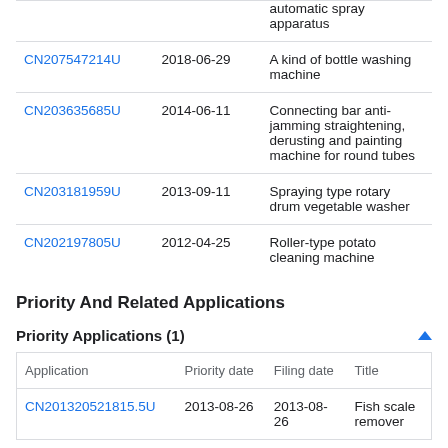| Application | Date | Title |
| --- | --- | --- |
|  |  | automatic spray apparatus |
| CN207547214U | 2018-06-29 | A kind of bottle washing machine |
| CN203635685U | 2014-06-11 | Connecting bar anti-jamming straightening, derusting and painting machine for round tubes |
| CN203181959U | 2013-09-11 | Spraying type rotary drum vegetable washer |
| CN202197805U | 2012-04-25 | Roller-type potato cleaning machine |
Priority And Related Applications
Priority Applications (1)
| Application | Priority date | Filing date | Title |
| --- | --- | --- | --- |
| CN201320521815.5U | 2013-08-26 | 2013-08-26 | Fish scale remover |